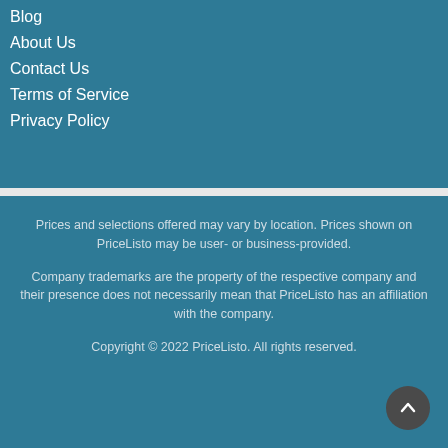Blog
About Us
Contact Us
Terms of Service
Privacy Policy
Prices and selections offered may vary by location. Prices shown on PriceListo may be user- or business-provided.
Company trademarks are the property of the respective company and their presence does not necessarily mean that PriceListo has an affiliation with the company.
Copyright © 2022 PriceListo. All rights reserved.